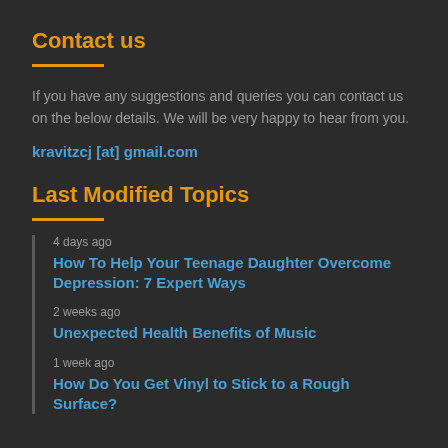Contact us
If you have any suggestions and queries you can contact us on the below details. We will be very happy to hear from you.
kravitzcj [at] gmail.com
Last Modified Topics
4 days ago
How To Help Your Teenage Daughter Overcome Depression: 7 Expert Ways
2 weeks ago
Unexpected Health Benefits of Music
1 week ago
How Do You Get Vinyl to Stick to a Rough Surface?